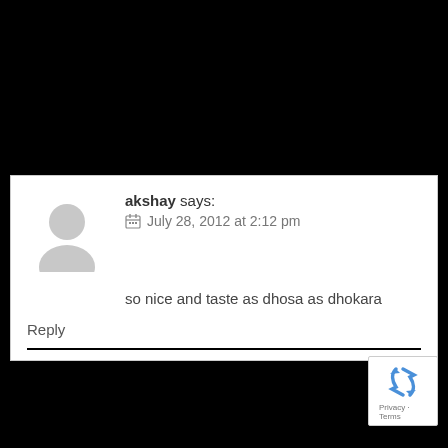akshay says: July 28, 2012 at 2:12 pm
so nice and taste as dhosa as dhokara
Reply
[Figure (logo): reCAPTCHA badge with recycle arrows icon and Privacy - Terms text]